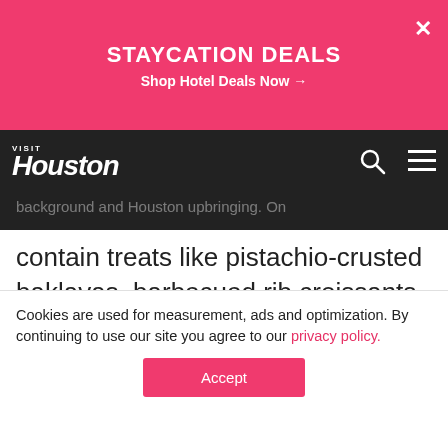STAYCATION DEALS
Shop Hotel Deals Now →
[Figure (screenshot): Visit Houston website navigation bar with logo, search icon, and hamburger menu on dark background]
background and Houston upbringing. On any given day, the pastry case may contain treats like pistachio-crusted baklavas, barbecued rib croissants, and persimmon scones. If you're craving something savory, you'll find plenty to choose from. On a recent morning, t... m...
[Figure (screenshot): The Houstonian Hotel advertisement banner: Travel + Leisure Best Resort in Texas]
Cookies are used for measurement, ads and optimization. By continuing to use our site you agree to our privacy policy.